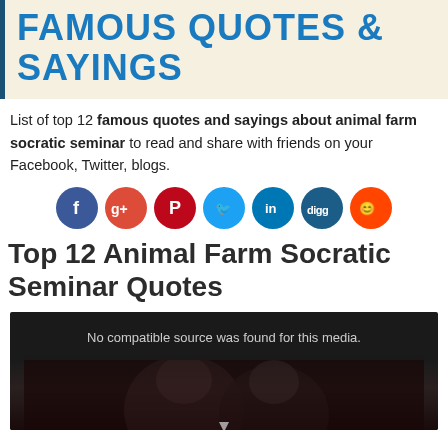FAMOUS QUOTES & SAYINGS
List of top 12 famous quotes and sayings about animal farm socratic seminar to read and share with friends on your Facebook, Twitter, blogs.
[Figure (infographic): Social media sharing icons: Facebook (blue), Google+ (red), Pinterest (dark red), Twitter (light blue), LinkedIn (dark blue), Digg (dark blue), Reddit (orange)]
Top 12 Animal Farm Socratic Seminar Quotes
[Figure (screenshot): Video player with black background showing 'No compatible source was found for this media.' text and dark silhouette of faces at bottom with a play arrow indicator]